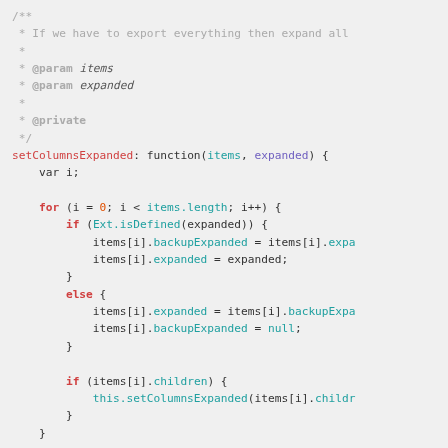/** * If we have to export everything then expand all * * @param items * @param expanded * * @private */ setColumnsExpanded: function(items, expanded) { var i; for (i = 0; i < items.length; i++) { if (Ext.isDefined(expanded)) { items[i].backupExpanded = items[i].expa items[i].expanded = expanded; } else { items[i].expanded = items[i].backupExpa items[i].backupExpanded = null; } if (items[i].children) { this.setColumnsExpanded(items[i].childr } }